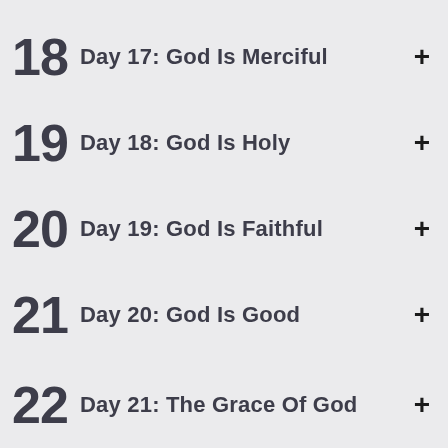18  Day 17: God Is Merciful  +
19  Day 18: God Is Holy  +
20  Day 19: God Is Faithful  +
21  Day 20: God Is Good  +
22  Day 21: The Grace Of God  +